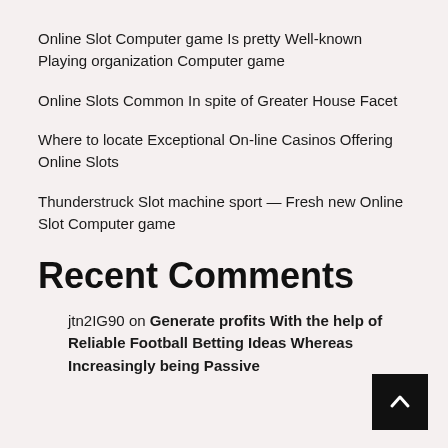Online Slot Computer game Is pretty Well-known Playing organization Computer game
Online Slots Common In spite of Greater House Facet
Where to locate Exceptional On-line Casinos Offering Online Slots
Thunderstruck Slot machine sport — Fresh new Online Slot Computer game
Recent Comments
jtn2IG90 on Generate profits With the help of Reliable Football Betting Ideas Whereas Increasingly being Passive